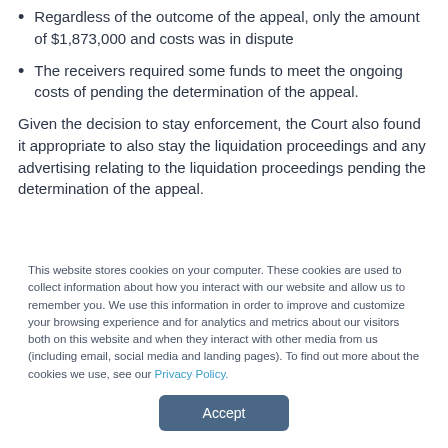Regardless of the outcome of the appeal, only the amount of $1,873,000 and costs was in dispute
The receivers required some funds to meet the ongoing costs of pending the determination of the appeal.
Given the decision to stay enforcement, the Court also found it appropriate to also stay the liquidation proceedings and any advertising relating to the liquidation proceedings pending the determination of the appeal.
This website stores cookies on your computer. These cookies are used to collect information about how you interact with our website and allow us to remember you. We use this information in order to improve and customize your browsing experience and for analytics and metrics about our visitors both on this website and when they interact with other media from us (including email, social media and landing pages). To find out more about the cookies we use, see our Privacy Policy.